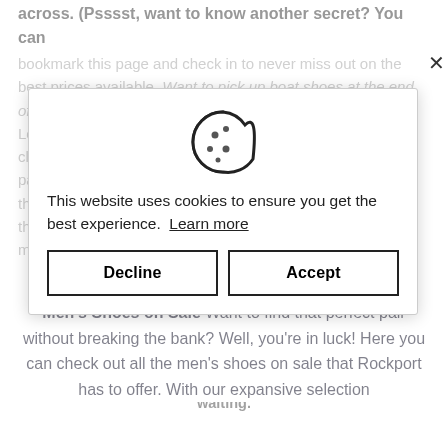across. (Psssst, want to know another secret? You can bookmark this page and check in to never miss out on the best prices available. Want to pick up boat shoes at the end of the season (more for next year)? You'll find them here. Looking for a fantastic price on styles that have gone on clearance? Stream straight to a snap in a size. Don't see the pair you're looking for, but just want to browse until you find the shoes you need, but just want to be added? Don't see them here. But you looking for the best price on the best men's footwear happy waiting.
This website uses cookies to ensure you get the best experience. Learn more
Decline
Accept
waiting.
Men's Shoes on Sale Want to find that perfect pair without breaking the bank? Well, you're in luck! Here you can check out all the men's shoes on sale that Rockport has to offer. With our expansive selection